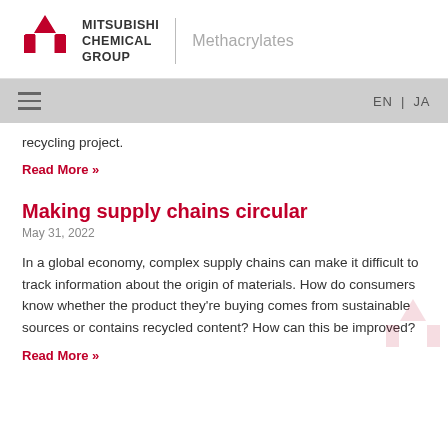MITSUBISHI CHEMICAL GROUP | Methacrylates
recycling project.
Read More »
Making supply chains circular
May 31, 2022
In a global economy, complex supply chains can make it difficult to track information about the origin of materials. How do consumers know whether the product they're buying comes from sustainable sources or contains recycled content? How can this be improved?
Read More »